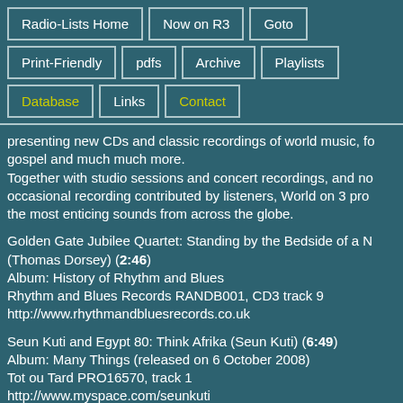Radio-Lists Home
Now on R3
Goto
Print-Friendly
pdfs
Archive
Playlists
Database
Links
Contact
presenting new CDs and classic recordings of world music, fo gospel and much much more. Together with studio sessions and concert recordings, and no occasional recording contributed by listeners, World on 3 pro the most enticing sounds from across the globe.
Golden Gate Jubilee Quartet: Standing by the Bedside of a N (Thomas Dorsey) (2:46)
Album: History of Rhythm and Blues
Rhythm and Blues Records RANDB001, CD3 track 9
http://www.rhythmandbluesrecords.co.uk
Seun Kuti and Egypt 80: Think Afrika (Seun Kuti) (6:49)
Album: Many Things (released on 6 October 2008)
Tot ou Tard PRO16570, track 1
http://www.myspace.com/seunkuti